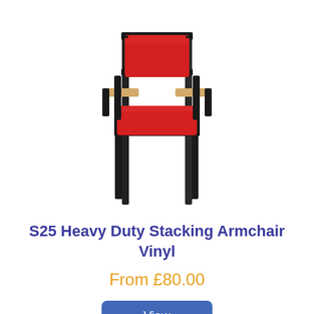[Figure (photo): S25 Heavy Duty Stacking Armchair with red vinyl seat and back cushions, wood armrests, and black metal frame, viewed from a slight front-left angle on white background.]
S25 Heavy Duty Stacking Armchair Vinyl
From £80.00
[Figure (photo): Partial cropped image at the bottom showing a pink/salmon coloured round cushion or seat pad on a light wooden floor.]